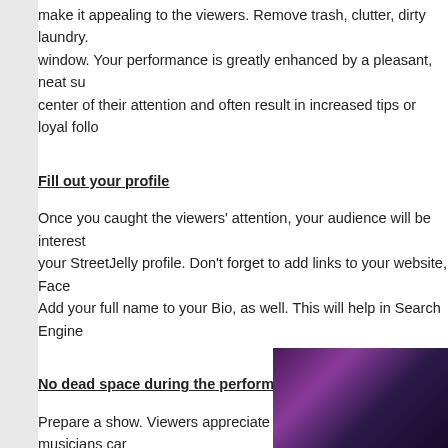make it appealing to the viewers. Remove trash, clutter, dirty laundry. window. Your performance is greatly enhanced by a pleasant, neat su center of their attention and often result in increased tips or loyal follo
Fill out your profile
Once you caught the viewers' attention, your audience will be interest your StreetJelly profile. Don't forget to add links to your website, Face Add your full name to your Bio, as well. This will help in Search Engine
No dead space during the performance
Prepare a show. Viewers appreciate the fact that some musicians car you unexpectedly walk away from your show for extended periods of pause for more than a few minutes. If you have to take a longer break
Put on a show, not a practice session
StreetJelly is a music performance site. Although we welcome perform practice session is essentially identical to a performance and you con above.) This directs viewers to other performers who put on a well pla
[Figure (photo): Dark purple/pink lit performance photo in bottom right corner]